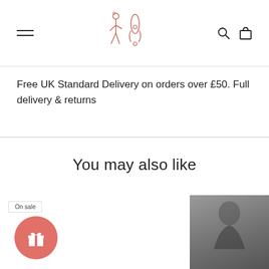[Figure (logo): Brand logo with two stylized figures in salmon/coral outline, centered in header]
[Figure (illustration): Hamburger menu icon (three horizontal lines) on left side of header]
[Figure (illustration): Search icon (magnifying glass) and bag/cart icon on right side of header]
Free UK Standard Delivery on orders over £50. Full delivery & returns
You may also like
On sale
On sale
[Figure (illustration): Pink/salmon circular gift icon with white present/ribbon symbol]
[Figure (photo): Partial product photo on right side showing person in grey/dark clothing]